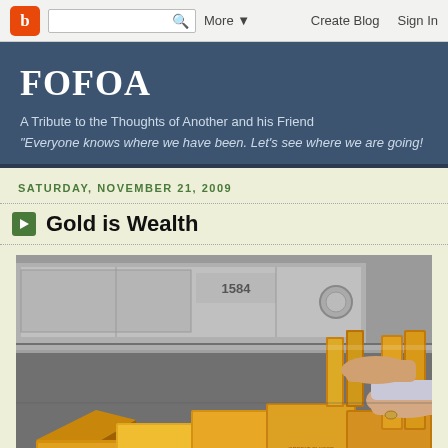Blogger navbar with search box, More, Create Blog, Sign In
FOFOA
A Tribute to the Thoughts of Another and his Friend
"Everyone knows where we have been. Let's see where we are going!
SATURDAY, NOVEMBER 21, 2009
Gold is Wealth
[Figure (photo): A person's hands handling gold bars stacked on a metallic tray in front of a bank safe with number 1584. Multiple large gold bullion bars are visible in the foreground.]